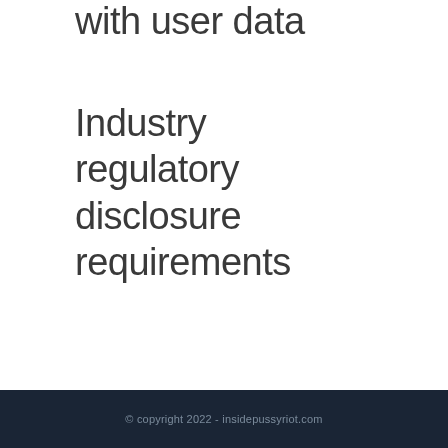with user data
Industry regulatory disclosure requirements
© copyright 2022 - insidepussyriot.com